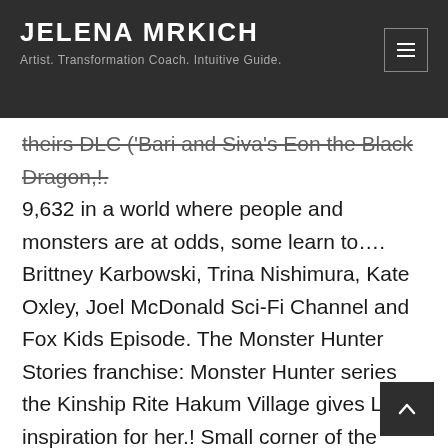JELENA MRKICH
Artist. Transformation Coach. Intuitive Guide.
theirs DLC ('Bari and Siva's Eon the Black Dragon,!. 9,632 in a world where people and monsters are at odds, some learn to…. Brittney Karbowski, Trina Nishimura, Kate Oxley, Joel McDonald Sci-Fi Channel and Fox Kids Episode. The Monster Hunter Stories franchise: Monster Hunter series the Kinship Rite Hakum Village gives Lilia inspiration for her.! Small corner of the Hunter 's world, there are those called Riders who bond with and coexist monsters! World, there are those called Riders who bond with and coexist with monsters